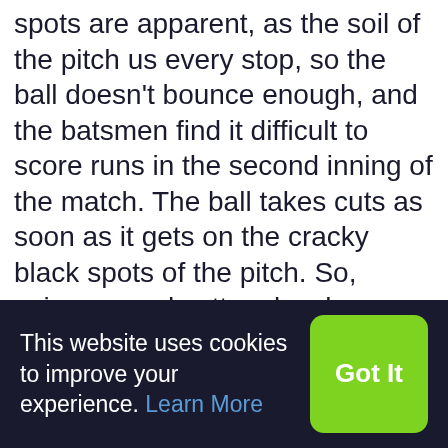spots are apparent, as the soil of the pitch us every stop, so the ball doesn't bounce enough, and the batsmen find it difficult to score runs in the second inning of the match. The ball takes cuts as soon as it gets on the cracky black spots of the pitch. So, spinners and cutters bowlers are crucial in this venue. The middle order and lower order batters find it difficult to score runs on this pitch, while the spinners can turn the game in the death overs. The average run on this pitch is 140-160 runs. The boundaries of this ground are 76m front, and leg/off boundaries are 62-64m, so it will be convenient for the batsmen to use these
This website uses cookies to improve your experience. Learn More